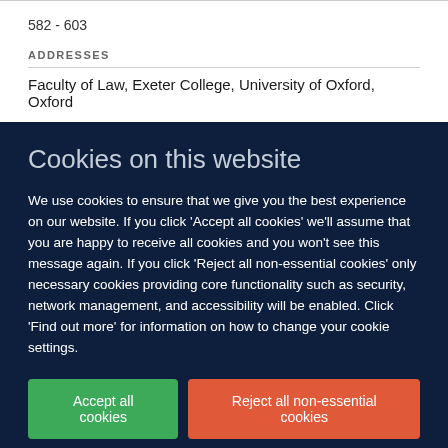582 - 603
ADDRESSES
Faculty of Law, Exeter College, University of Oxford, Oxford
Cookies on this website
We use cookies to ensure that we give you the best experience on our website. If you click 'Accept all cookies' we'll assume that you are happy to receive all cookies and you won't see this message again. If you click 'Reject all non-essential cookies' only necessary cookies providing core functionality such as security, network management, and accessibility will be enabled. Click 'Find out more' for information on how to change your cookie settings.
Accept all cookies
Reject all non-essential cookies